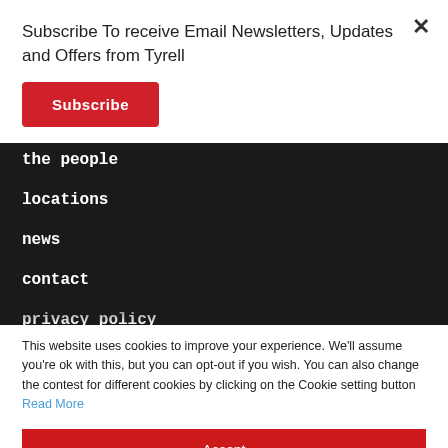Subscribe To receive Email Newsletters, Updates and Offers from Tyrell
Subscribe
the people
locations
news
contact
privacy policy
This website uses cookies to improve your experience. We'll assume you're ok with this, but you can opt-out if you wish. You can also change the contest for different cookies by clicking on the Cookie setting button Read More
Accept
Decline
Cookie Settings